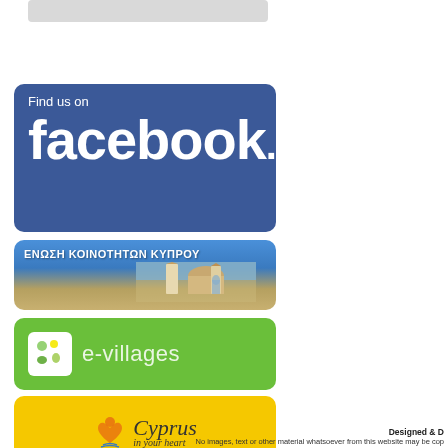[Figure (other): Gray rounded rectangle placeholder at top]
[Figure (logo): Find us on facebook blue banner logo]
[Figure (logo): ΕΝΩΣΗ ΚΟΙΝΟΤΗΤΩΝ ΚΥΠΡΟΥ banner with church photo background]
[Figure (logo): e-villages green banner logo]
[Figure (logo): Cyprus in your heart yellow banner logo]
Designed & D
No images, text or other material whatsoever from this website may be cop